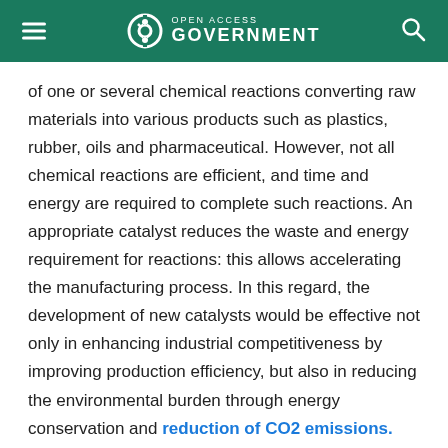Open Access Government
of one or several chemical reactions converting raw materials into various products such as plastics, rubber, oils and pharmaceutical. However, not all chemical reactions are efficient, and time and energy are required to complete such reactions. An appropriate catalyst reduces the waste and energy requirement for reactions: this allows accelerating the manufacturing process. In this regard, the development of new catalysts would be effective not only in enhancing industrial competitiveness by improving production efficiency, but also in reducing the environmental burden through energy conservation and reduction of CO2 emissions.